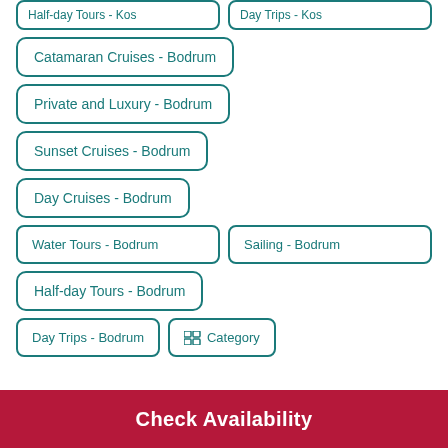Half-day Tours - Kos
Day Trips - Kos
Catamaran Cruises - Bodrum
Private and Luxury - Bodrum
Sunset Cruises - Bodrum
Day Cruises - Bodrum
Water Tours - Bodrum
Sailing - Bodrum
Half-day Tours - Bodrum
Day Trips - Bodrum
Category
Check Availability